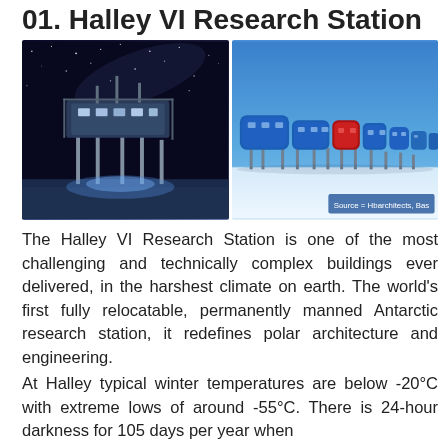01. Halley VI Research Station
[Figure (photo): Two photos of Halley VI Research Station side by side. Left: nighttime photo of the station lit up with blue lights against a dark starry sky. Right: daytime photo showing the blue modular research station with one red module on white snow under a blue sky. Source = Hbarchitects, Bas]
The Halley VI Research Station is one of the most challenging and technically complex buildings ever delivered, in the harshest climate on earth. The world's first fully relocatable, permanently manned Antarctic research station, it redefines polar architecture and engineering.
At Halley typical winter temperatures are below -20°C with extreme lows of around -55°C. There is 24-hour darkness for 105 days per year when